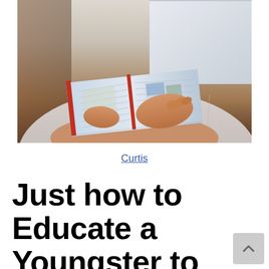[Figure (photo): A child or young person sitting and reading an illustrated book with a red cover, holding it open with both hands. Background appears to include a window and wooden surfaces.]
Curtis
Just how to Educate a Youngster to Review Guided Reading...